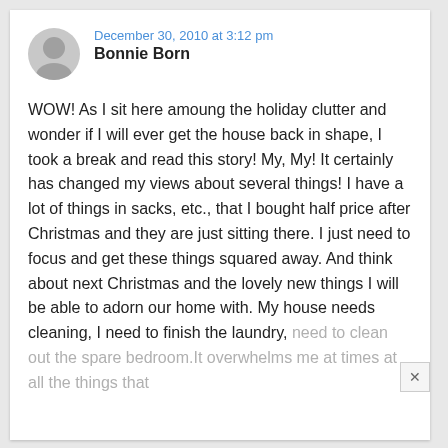December 30, 2010 at 3:12 pm
Bonnie Born
WOW! As I sit here amoung the holiday clutter and wonder if I will ever get the house back in shape, I took a break and read this story! My, My! It certainly has changed my views about several things! I have a lot of things in sacks, etc., that I bought half price after Christmas and they are just sitting there. I just need to focus and get these things squared away. And think about next Christmas and the lovely new things I will be able to adorn our home with. My house needs cleaning, I need to finish the laundry, need to clean out the spare bedroom.It overwhelms me at times at all the things that